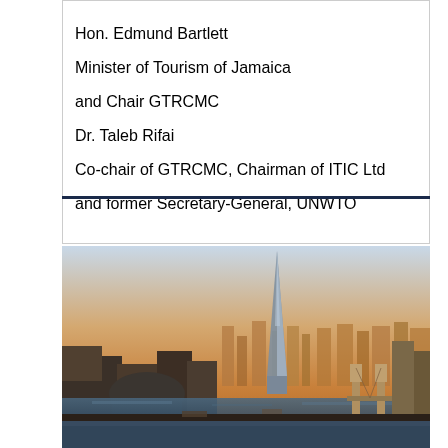Hon. Edmund Bartlett
Minister of Tourism of Jamaica
and Chair GTRCMC
Dr. Taleb Rifai
Co-chair of GTRCMC, Chairman of ITIC Ltd
and former Secretary-General, UNWTO
[Figure (photo): Aerial cityscape photo of London showing The Shard skyscraper prominently in the center-left, with the Thames River and Tower Bridge visible in the background, taken during golden hour with warm orange/amber tones.]